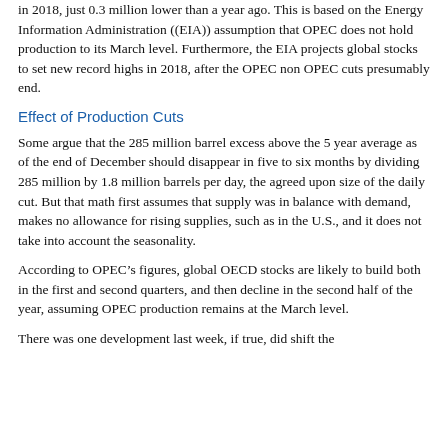in 2018, just 0.3 million lower than a year ago. This is based on the Energy Information Administration ((EIA)) assumption that OPEC does not hold production to its March level. Furthermore, the EIA projects global stocks to set new record highs in 2018, after the OPEC non OPEC cuts presumably end.
Effect of Production Cuts
Some argue that the 285 million barrel excess above the 5 year average as of the end of December should disappear in five to six months by dividing 285 million by 1.8 million barrels per day, the agreed upon size of the daily cut. But that math first assumes that supply was in balance with demand, makes no allowance for rising supplies, such as in the U.S., and it does not take into account the seasonality.
According to OPEC’s figures, global OECD stocks are likely to build both in the first and second quarters, and then decline in the second half of the year, assuming OPEC production remains at the March level.
There was one development last week, if true, did shift the